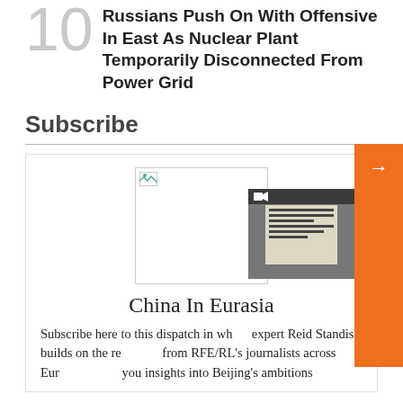Russians Push On With Offensive In East As Nuclear Plant Temporarily Disconnected From Power Grid
Subscribe
[Figure (illustration): Placeholder image with broken image icon, representing a newsletter subscription image]
China In Eurasia
Subscribe here to this dispatch in which expert Reid Standish builds on the reporting from RFE/RL's journalists across Eurasia to give you insights into Beijing's ambitions